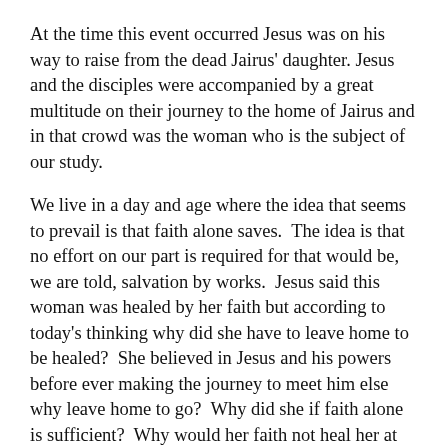At the time this event occurred Jesus was on his way to raise from the dead Jairus' daughter. Jesus and the disciples were accompanied by a great multitude on their journey to the home of Jairus and in that crowd was the woman who is the subject of our study.
We live in a day and age where the idea that seems to prevail is that faith alone saves.  The idea is that no effort on our part is required for that would be, we are told, salvation by works.  Jesus said this woman was healed by her faith but according to today's thinking why did she have to leave home to be healed?  She believed in Jesus and his powers before ever making the journey to meet him else why leave home to go?  Why did she if faith alone is sufficient?  Why would her faith not heal her at home?
The answer is really quite simple and is written all through the Bible and taught time and time again.  Faith must act if it is to be of any value.  This unnamed woman had undoubtedly heard from others that those who touched Jesus were